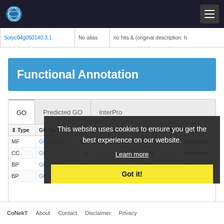CoNekT navigation bar with logo and hamburger menu
|  | No alias | no hits & (original description: h |
| --- | --- | --- |
| Solyc04g050140.3.1 | No alias | no hits & (original description: h |
Functional Annotation
| Type | GO Term | Name | Evidence | Source |
| --- | --- | --- | --- | --- |
| MF | GO:00036... | molecular_function | ND | Interprosc |
| CC | GO:... | ...s | ISM | Interprosc |
| BP | GO:00081... | biological_process | ND | Interprosc |
| BP | GO:00097... | response to sucrose | RCA | Interprosc |
This website uses cookies to ensure you get the best experience on our website.
Learn more
Got it!
CoNekT   About   Contact   Disclaimer   Privacy policy